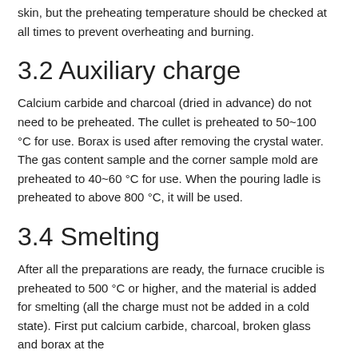skin, but the preheating temperature should be checked at all times to prevent overheating and burning.
3.2 Auxiliary charge
Calcium carbide and charcoal (dried in advance) do not need to be preheated. The cullet is preheated to 50~100 °C for use. Borax is used after removing the crystal water. The gas content sample and the corner sample mold are preheated to 40~60 °C for use. When the pouring ladle is preheated to above 800 °C, it will be used.
3.4 Smelting
After all the preparations are ready, the furnace crucible is preheated to 500 °C or higher, and the material is added for smelting (all the charge must not be added in a cold state). First put calcium carbide, charcoal, broken glass and borax at the